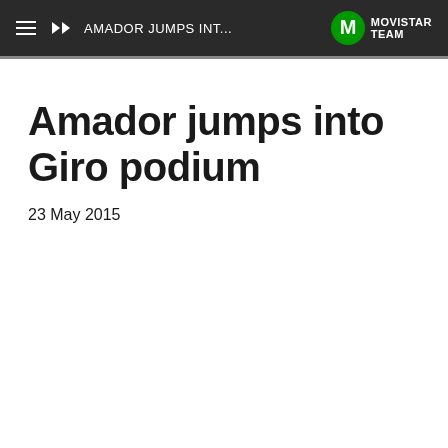AMADOR JUMPS INT... MOVISTAR TEAM
Amador jumps into Giro podium
23 May 2015